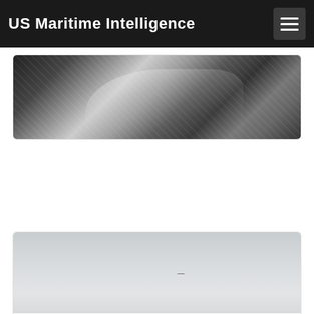US Maritime Intelligence
[Figure (photo): Black and white aerial or deck footage of a tanker vessel with industrial piping and equipment visible]
Video: Tanker Crewman Medevaced Near Galveston
An ailing crew member was medevaced from a tanker vessel
[Figure (photo): Gray hazy sky with a small aircraft or helicopter visible in the distance]